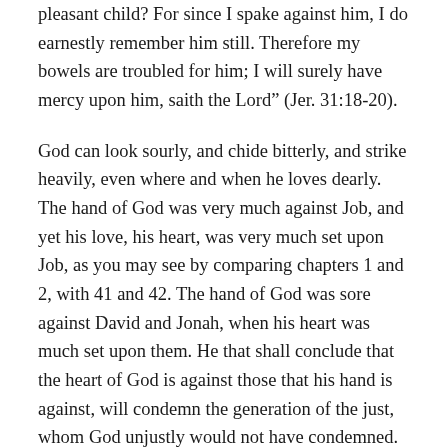pleasant child? For since I spake against him, I do earnestly remember him still. Therefore my bowels are troubled for him; I will surely have mercy upon him, saith the Lord” (Jer. 31:18-20).
God can look sourly, and chide bitterly, and strike heavily, even where and when he loves dearly. The hand of God was very much against Job, and yet his love, his heart, was very much set upon Job, as you may see by comparing chapters 1 and 2, with 41 and 42. The hand of God was sore against David and Jonah, when his heart was much set upon them. He that shall conclude that the heart of God is against those that his hand is against, will condemn the generation of the just, whom God unjustly would not have condemned.
Remedy (3). The third remedy against this device of